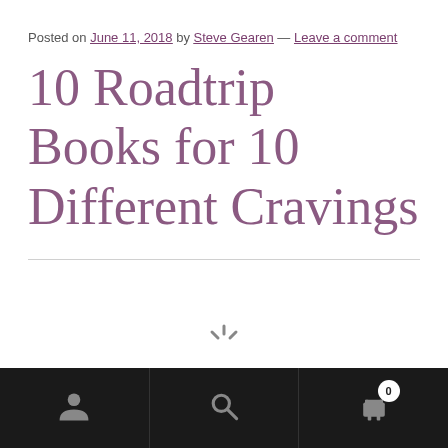Posted on June 11, 2018 by Steve Gearen — Leave a comment
10 Roadtrip Books for 10 Different Cravings
[Figure (other): Loading spinner icon (three radiating lines) centered near bottom of content area]
Bottom navigation bar with user icon, search icon, and shopping cart icon with badge showing 0